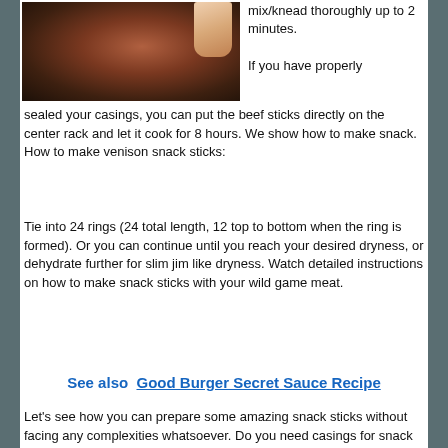[Figure (photo): A hand holding a small round meat snack stick/ball, brownish-red in color, close-up shot with dark background.]
mix/knead thoroughly up to 2 minutes.
If you have properly sealed your casings, you can put the beef sticks directly on the center rack and let it cook for 8 hours. We show how to make snack. How to make venison snack sticks:
Tie into 24 rings (24 total length, 12 top to bottom when the ring is formed). Or you can continue until you reach your desired dryness, or dehydrate further for slim jim like dryness. Watch detailed instructions on how to make snack sticks with your wild game meat.
See also  Good Burger Secret Sauce Recipe
Let’s see how you can prepare some amazing snack sticks without facing any complexities whatsoever. Do you need casings for snack sticks? For snack sticks without casings, use little or no fat trim.
You can make these snack sticks on a dehydrator, but this camp chef woodwind pellet grill adds amazing flavor to them. What kind of casings is used for snack sticks? Th...